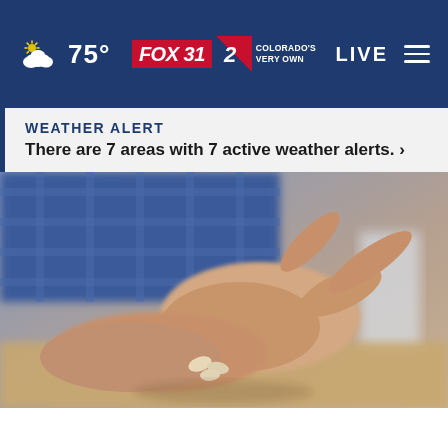75° — FOX 31 | 2 COLORADO'S VERY OWN — LIVE
WEATHER ALERT
There are 7 areas with 7 active weather alerts. ›
[Figure (photo): Close-up of a person's hands holding small white pills/supplements, wearing a blue plaid shirt, with blurred background]